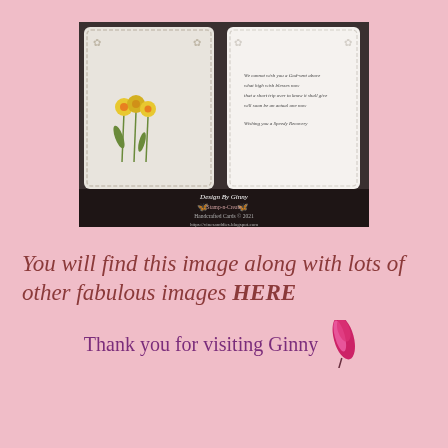[Figure (photo): Open greeting card showing two panels: left panel has yellow daffodil flowers stamped on white scalloped card stock, right panel has printed verse text. Bottom of image shows 'Design By Ginny' watermark with butterfly icons and blog URL https://vinesanddies.blogspot.com]
You will find this image along with lots of other fabulous images HERE
Thank you for visiting Ginny